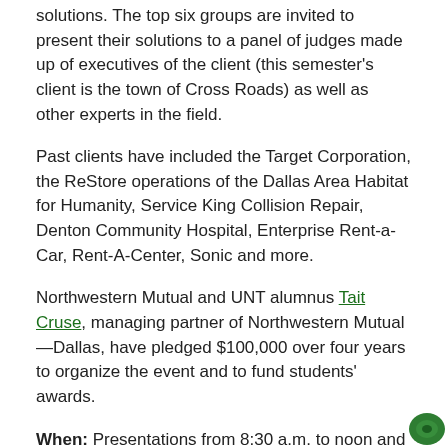solutions. The top six groups are invited to present their solutions to a panel of judges made up of executives of the client (this semester's client is the town of Cross Roads) as well as other experts in the field.
Past clients have included the Target Corporation, the ReStore operations of the Dallas Area Habitat for Humanity, Service King Collision Repair, Denton Community Hospital, Enterprise Rent-a-Car, Rent-A-Center, Sonic and more.
Northwestern Mutual and UNT alumnus Tait Cruse, managing partner of Northwestern Mutual—Dallas, have pledged $100,000 over four years to organize the event and to fund students' awards.
When: Presentations from 8:30 a.m. to noon and awards from 1:30 p.m. to 2 p.m.  April 27 (Saturday)
Where: UNT's Business Leadership Building, dean's conference